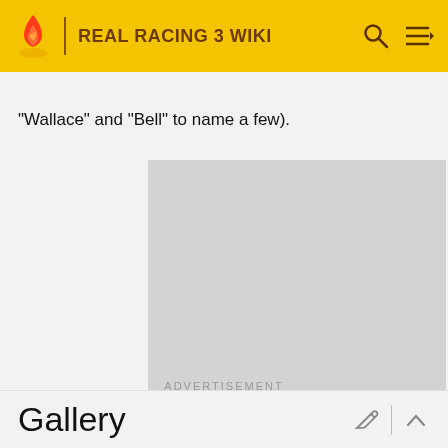REAL RACING 3 WIKI
"Wallace" and "Bell" to name a few).
[Figure (other): Gray advertisement placeholder rectangle]
ADVERTISEMENT
Gallery